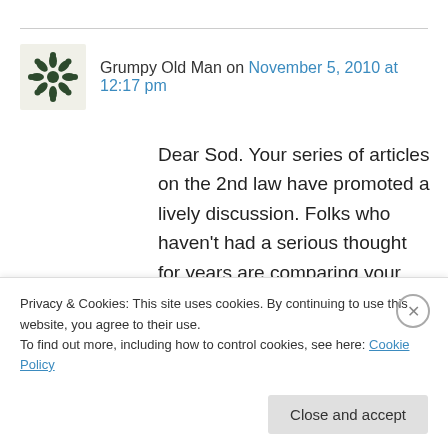Grumpy Old Man on November 5, 2010 at 12:17 pm
Dear Sod. Your series of articles on the 2nd law have promoted a lively discussion. Folks who haven't had a serious thought for years are comparing your lessons with their own experiences and are asking questions. This is what mature students do and is why so many teachers find them difficult – no instant acquiescence to Authority, see. They've been
Privacy & Cookies: This site uses cookies. By continuing to use this website, you agree to their use.
To find out more, including how to control cookies, see here: Cookie Policy